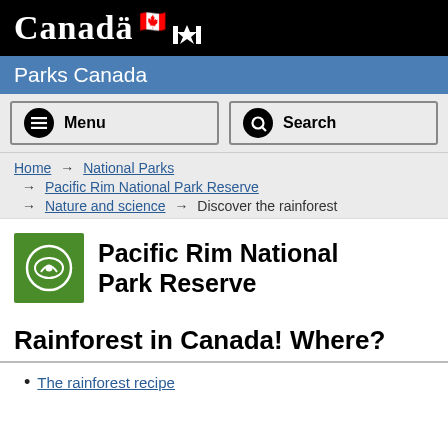Canada — Parks Canada
Menu | Search
Home → National Parks → Pacific Rim National Park Reserve → Nature and science → Discover the rainforest
Pacific Rim National Park Reserve
Rainforest in Canada! Where?
The rainforest recipe